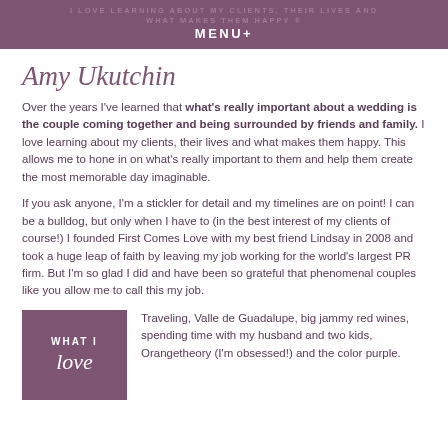I LOVE LEARNING ABOUT MY CLIENTS, THEIR LIVES AND WHAT MAKES THEM HAPPY. MENU+
Amy Ukutchin
Over the years I've learned that what's really important about a wedding is the couple coming together and being surrounded by friends and family. I love learning about my clients, their lives and what makes them happy. This allows me to hone in on what's really important to them and help them create the most memorable day imaginable.
If you ask anyone, I'm a stickler for detail and my timelines are on point! I can be a bulldog, but only when I have to (in the best interest of my clients of course!) I founded First Comes Love with my best friend Lindsay in 2008 and took a huge leap of faith by leaving my job working for the world's largest PR firm. But I'm so glad I did and have been so grateful that phenomenal couples like you allow me to call this my job.
WHAT I love
Traveling, Valle de Guadalupe, big jammy red wines, spending time with my husband and two kids, Orangetheory (I'm obsessed!) and the color purple.